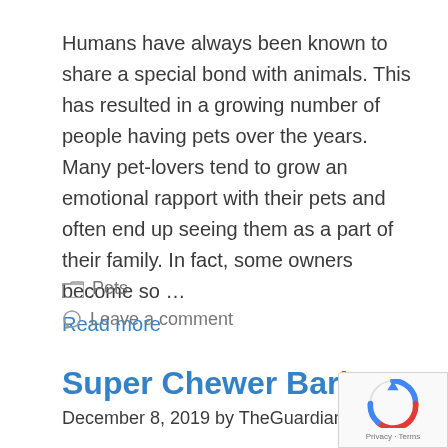Humans have always been known to share a special bond with animals. This has resulted in a growing number of people having pets over the years. Many pet-lovers tend to grow an emotional rapport with their pets and often end up seeing them as a part of their family. In fact, some owners become so … Read more
Pets
Leave a comment
Super Chewer BarkBox Revi…
December 8, 2019 by TheGuardianOnline